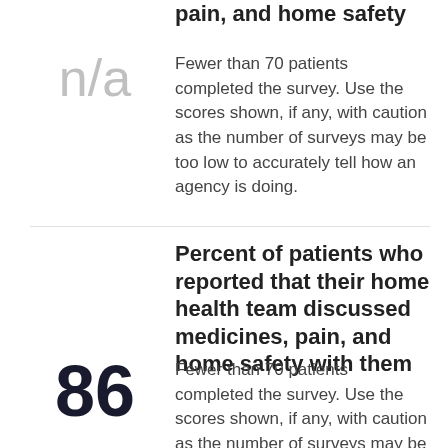pain, and home safety
n/a
Fewer than 70 patients completed the survey. Use the scores shown, if any, with caution as the number of surveys may be too low to accurately tell how an agency is doing.
Percent of patients who reported that their home health team discussed medicines, pain, and home safety with them
86
Fewer than 70 patients completed the survey. Use the scores shown, if any, with caution as the number of surveys may be too low to accurately tell how an agency is doing.